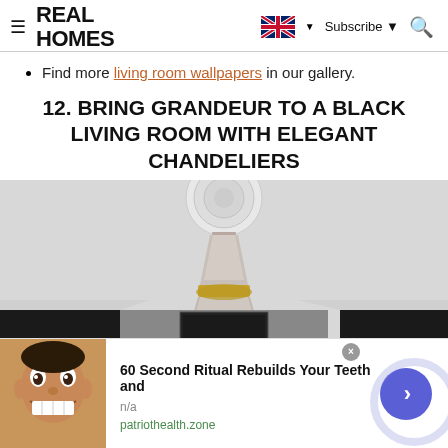REAL HOMES
Find more living room wallpapers in our gallery.
12. BRING GRANDEUR TO A BLACK LIVING ROOM WITH ELEGANT CHANDELIERS
[Figure (photo): Elegant crystal chandelier with gold trim hanging from a decorative white ceiling rose, with black wall panels visible below.]
[Figure (infographic): Advertisement banner: '60 Second Ritual Rebuilds Your Teeth and' from patriothealth.zone, with a man smiling and a blue circle arrow button.]